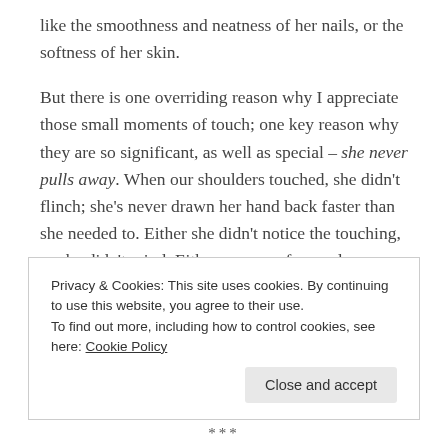like the smoothness and neatness of her nails, or the softness of her skin.
But there is one overriding reason why I appreciate those small moments of touch; one key reason why they are so significant, as well as special – she never pulls away. When our shoulders touched, she didn't flinch; she's never drawn her hand back faster than she needed to. Either she didn't notice the touching, or she didn't mind. Either way, my fear and unconscious expectation was that she would both notice, and mind. It felt surprising that she didn't draw her shoulder back; or that she didn't try and grab the edge of a passed object so as not to come into
Privacy & Cookies: This site uses cookies. By continuing to use this website, you agree to their use.
To find out more, including how to control cookies, see here: Cookie Policy
***